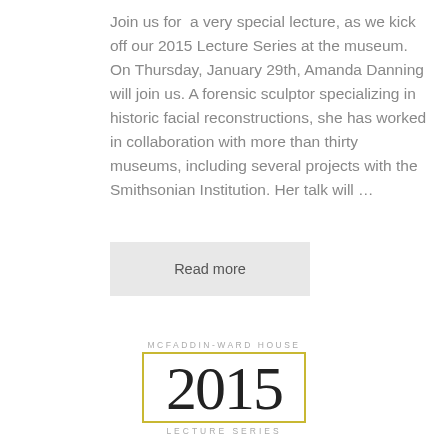Join us for  a very special lecture, as we kick off our 2015 Lecture Series at the museum. On Thursday, January 29th, Amanda Danning will join us. A forensic sculptor specializing in historic facial reconstructions, she has worked in collaboration with more than thirty museums, including several projects with the Smithsonian Institution. Her talk will …
Read more
[Figure (logo): McFaddin-Ward House 2015 Lecture Series logo: small grey spaced text 'MCFADDIN-WARD HOUSE' above a yellow-bordered rectangle containing large thin '2015' numeral, with 'LECTURE SERIES' text below in spaced grey capitals.]